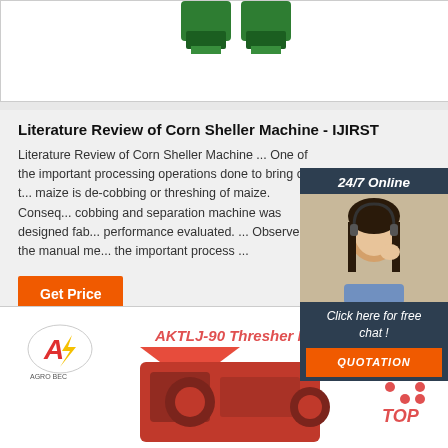[Figure (photo): Partial view of green industrial machine at top]
Literature Review of Corn Sheller Machine - IJIRST
Literature Review of Corn Sheller Machine ... One of the important processing operations done to bring out the maize is de-cobbing or threshing of maize. Consequently, a cobbing and separation machine was designed fabricated and performance evaluated. ... Observe the manual method as the important process ...
[Figure (photo): 24/7 Online chat widget with woman wearing headset]
Get Price
[Figure (photo): AKTLJ-90 Thresher Machine product image with red machine and company logo]